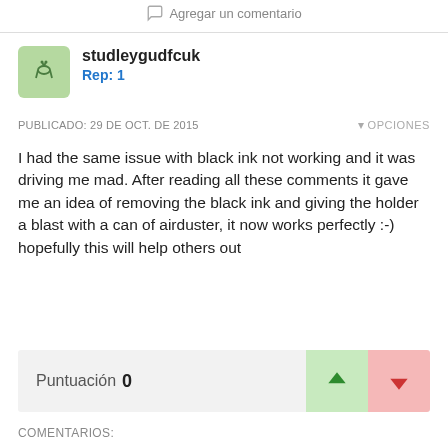Agregar un comentario
studleygudfcuk
Rep: 1
PUBLICADO: 29 DE OCT. DE 2015
OPCIONES
I had the same issue with black ink not working and it was driving me mad. After reading all these comments it gave me an idea of removing the black ink and giving the holder a blast with a can of airduster, it now works perfectly :-) hopefully this will help others out
Puntuación 0
COMENTARIOS: